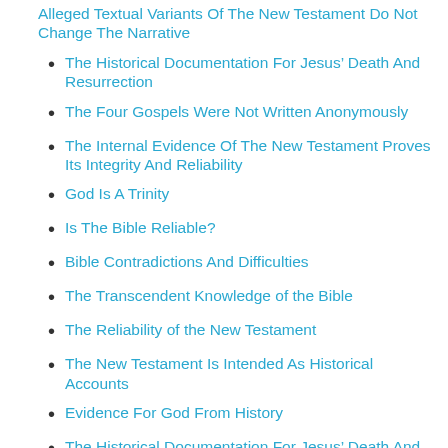Alleged Textual Variants Of The New Testament Do Not Change The Narrative
The Historical Documentation For Jesus’ Death And Resurrection
The Four Gospels Were Not Written Anonymously
The Internal Evidence Of The New Testament Proves Its Integrity And Reliability
God Is A Trinity
Is The Bible Reliable?
Bible Contradictions And Difficulties
The Transcendent Knowledge of the Bible
The Reliability of the New Testament
The New Testament Is Intended As Historical Accounts
Evidence For God From History
The Historical Documentation For Jesus’ Death And Resurrection
The Internal Evidence Of The New Testament Proves Its